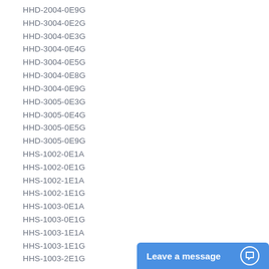HHD-2004-0E9G
HHD-3004-0E2G
HHD-3004-0E3G
HHD-3004-0E4G
HHD-3004-0E5G
HHD-3004-0E8G
HHD-3004-0E9G
HHD-3005-0E3G
HHD-3005-0E4G
HHD-3005-0E5G
HHD-3005-0E9G
HHS-1002-0E1A
HHS-1002-0E1G
HHS-1002-1E1A
HHS-1002-1E1G
HHS-1003-0E1A
HHS-1003-0E1G
HHS-1003-1E1A
HHS-1003-1E1G
HHS-1003-2E1G
HHS-1502-1E1A
HHS-1502-1E1G
HHS-2004-0E2A
HHS-2004-0E2G
HHS-2004-0E3A